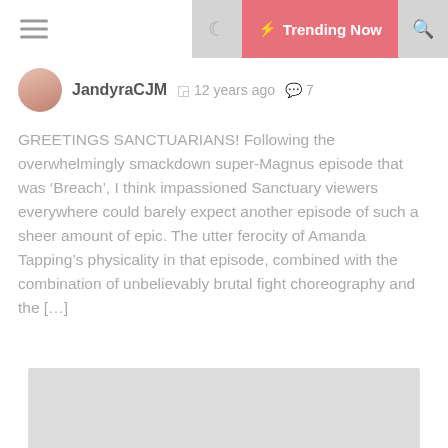Trending Now
JandyraCJM   12 years ago   7
GREETINGS SANCTUARIANS! Following the overwhelmingly smackdown super-Magnus episode that was ‘Breach’, I think impassioned Sanctuary viewers everywhere could barely expect another episode of such a sheer amount of epic. The utter ferocity of Amanda Tapping’s physicality in that episode, combined with the combination of unbelievably brutal fight choreography and the [...]
[Figure (photo): Large image placeholder block (gray rectangle)]
ntern: Beware My Power
Con 2022 Round Table...
The Music In Sean Callery
Vincent, Kurt Farquhar an